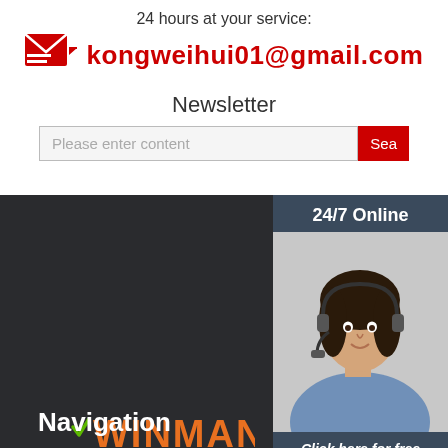24 hours at your service:
kongweihui01@gmail.com
Newsletter
Please enter content
[Figure (illustration): 24/7 Online chat support widget with photo of woman wearing headset and 'Click here for free chat!' text and QUOTATION button]
[Figure (logo): WINMAN logo in orange and green on dark background]
ADDRESS:Shanghai winman industrial co., ltd
Mobile:+86 15517160690
E-mail:kongweihui01@gmail.com
Tel:+86 15517160690
Navigation
[Figure (illustration): Orange TOP arrow icon for back-to-top navigation]